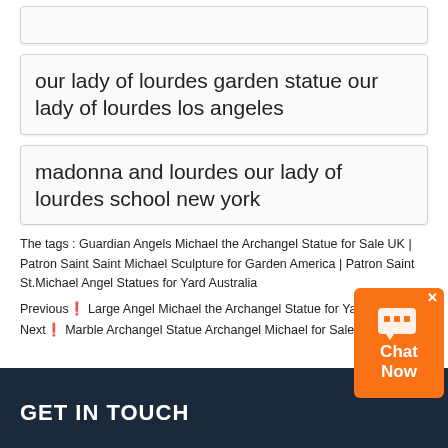our lady of lourdes garden statue our lady of lourdes los angeles
madonna and lourdes our lady of lourdes school new york
The tags : Guardian Angels Michael the Archangel Statue for Sale UK | Patron Saint Saint Michael Sculpture for Garden America | Patron Saint St.Michael Angel Statues for Yard Australia
Previous❯ Large Angel Michael the Archangel Statue for Yard
Next❯ Marble Archangel Statue Archangel Michael for Sale
GET IN TOUCH